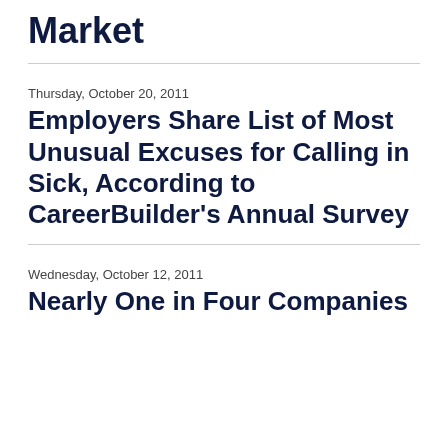Market
Thursday, October 20, 2011
Employers Share List of Most Unusual Excuses for Calling in Sick, According to CareerBuilder's Annual Survey
Wednesday, October 12, 2011
Nearly One in Four Companies